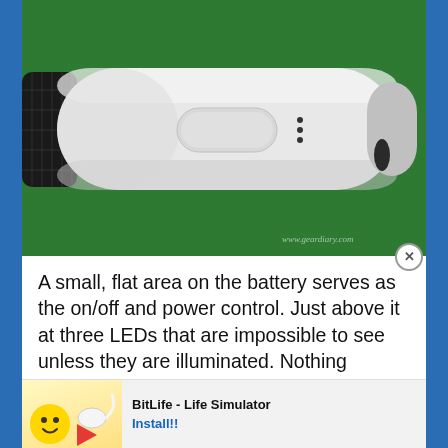[Figure (photo): Close-up photo of a white cylindrical electronic device (vaping battery/e-cigarette) with a flat oval button and three LED dots, placed on a green felt surface. Watermark reads www.geardiary.com]
A small, flat area on the battery serves as the on/off and power control. Just above it at three LEDs that are impossible to see unless they are illuminated. Nothing indicates the power control's presence except for it being a smooth, flat area on an otherwise curved device. It is sub... sel
[Figure (screenshot): Advertisement banner for BitLife - Life Simulator app. Contains Ad label, emoji/game icons, and Install!! button.]